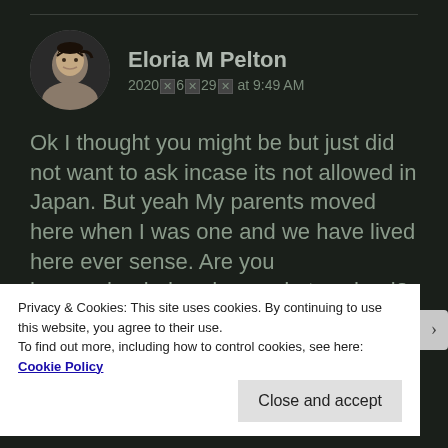Eloria M Pelton
2020🗙6🗙29🗙 at 9:49 AM
Ok I thought you might be but just did not want to ask incase its not allowed in Japan. But yeah My parents moved here when I was one and we have lived here ever sense. Are you homeschooled or do you do to school?
Privacy & Cookies: This site uses cookies. By continuing to use this website, you agree to their use.
To find out more, including how to control cookies, see here:
Cookie Policy
Close and accept